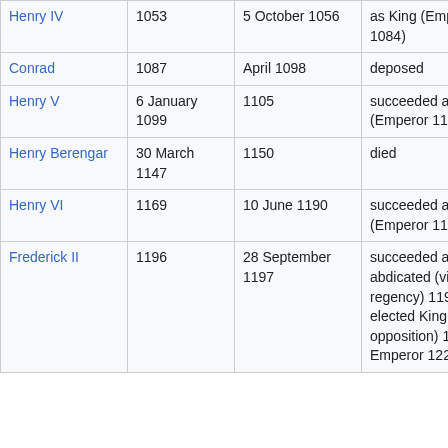| Name | Year | Date ended | Reason | Relation | Parent |
| --- | --- | --- | --- | --- | --- |
| Henry IV | 1053 | 5 October 1056 | as King (Emperor 1084) | son | He... |
| Conrad | 1087 | April 1098 | deposed | son | He... |
| Henry V | 6 January 1099 | 1105 | succeeded as King (Emperor 1111) | son | He... |
| Henry Berengar | 30 March 1147 | 1150 | died | son | Co... |
| Henry VI | 1169 | 10 June 1190 | succeeded as King (Emperor 1191) | son | Fre... |
| Frederick II | 1196 | 28 September 1197 | succeeded and abdicated (via regency) 1197 elected King (with opposition) 1212 Emperor 1220 | son | He... |